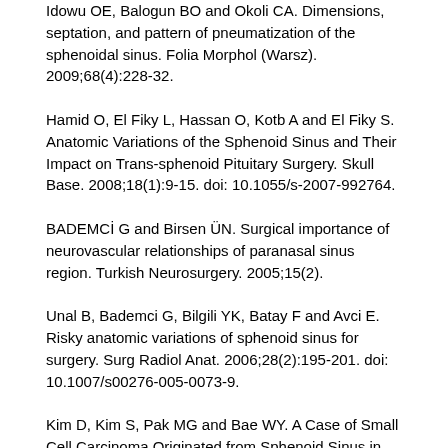Idowu OE, Balogun BO and Okoli CA. Dimensions, septation, and pattern of pneumatization of the sphenoidal sinus. Folia Morphol (Warsz). 2009;68(4):228-32.
Hamid O, El Fiky L, Hassan O, Kotb A and El Fiky S. Anatomic Variations of the Sphenoid Sinus and Their Impact on Trans-sphenoid Pituitary Surgery. Skull Base. 2008;18(1):9-15. doi: 10.1055/s-2007-992764.
BADEMCİ G and Birsen ÜN. Surgical importance of neurovascular relationships of paranasal sinus region. Turkish Neurosurgery. 2005;15(2).
Unal B, Bademci G, Bilgili YK, Batay F and Avci E. Risky anatomic variations of sphenoid sinus for surgery. Surg Radiol Anat. 2006;28(2):195-201. doi: 10.1007/s00276-005-0073-9.
Kim D, Kim S, Pak MG and Bae WY. A Case of Small Cell Carcinoma Originated from Sphenoid Sinus in Patient with